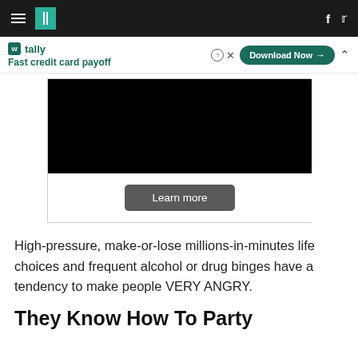HuffPost navigation with hamburger menu, logo, social icons (f, Twitter)
[Figure (screenshot): Tally app advertisement banner: logo, 'Fast credit card payoff' tagline, Download Now button, help and close icons, collapse arrow]
[Figure (screenshot): Embedded video player area: black video frame with 'Learn more' button below]
High-pressure, make-or-lose millions-in-minutes life choices and frequent alcohol or drug binges have a tendency to make people VERY ANGRY.
They Know How To Party